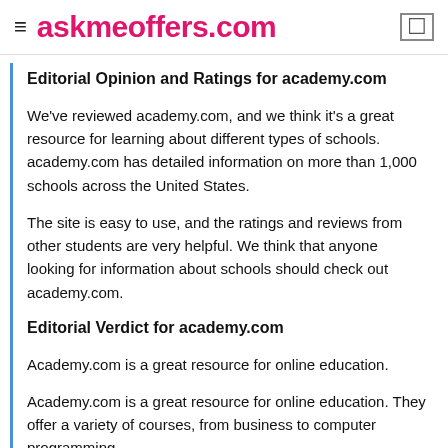≡ askmeoffers.com
Editorial Opinion and Ratings for academy.com
We've reviewed academy.com, and we think it's a great resource for learning about different types of schools. academy.com has detailed information on more than 1,000 schools across the United States.
The site is easy to use, and the ratings and reviews from other students are very helpful. We think that anyone looking for information about schools should check out academy.com.
Editorial Verdict for academy.com
Academy.com is a great resource for online education.
Academy.com is a great resource for online education. They offer a variety of courses, from business to computer programming.